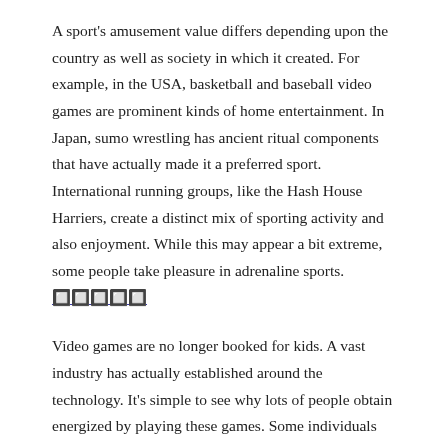A sport's amusement value differs depending upon the country as well as society in which it created. For example, in the USA, basketball and baseball video games are prominent kinds of home entertainment. In Japan, sumo wrestling has ancient ritual components that have actually made it a preferred sport. International running groups, like the Hash House Harriers, create a distinct mix of sporting activity and also enjoyment. While this may appear a bit extreme, some people take pleasure in adrenaline sports. [link]
Video games are no longer booked for kids. A vast industry has actually established around the technology. It's simple to see why lots of people obtain energized by playing these games. Some individuals like to race in online cars and trucks in